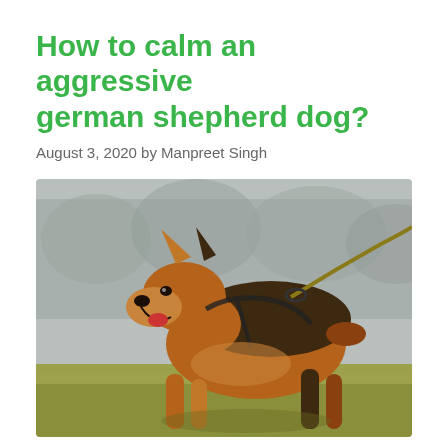How to calm an aggressive german shepherd dog?
August 3, 2020 by Manpreet Singh
[Figure (photo): A German Shepherd dog running on grass with mouth open, wearing a harness and leash, photographed outdoors with a blurred background of trees.]